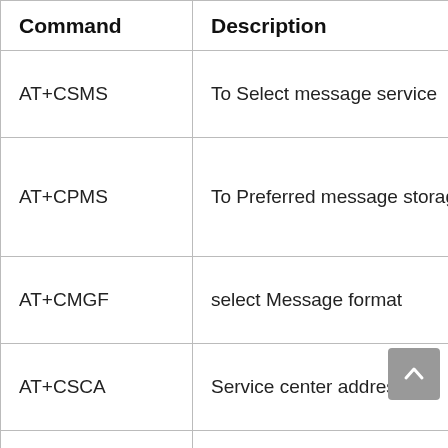| Command | Description |
| --- | --- |
| AT+CSMS | To Select message service |
| AT+CPMS | To Preferred message storage |
| AT+CMGF | select Message format |
| AT+CSCA | Service center address |
| AT+CSMP | Set text mode parameters in sim |
| AT+CSDH | To Show text mode parameters in Sim |
|  | Select cell broadcast... |